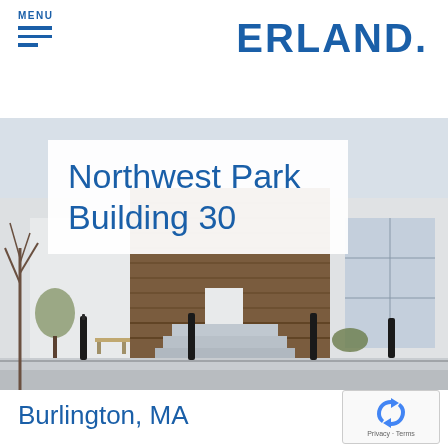MENU
Northwest Park Building 30
[Figure (photo): Exterior photo of Northwest Park Building 30 in Burlington, MA. Modern building with wood panel and white facade, concrete steps, bollards, and landscaping in foreground.]
Burlington, MA